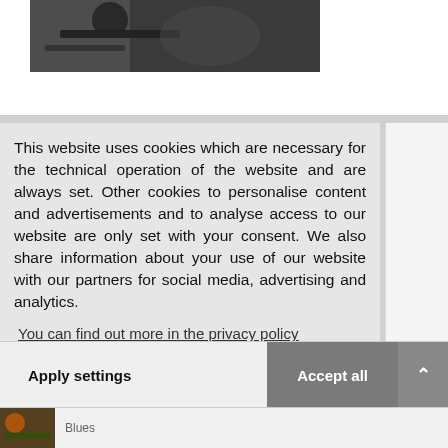[Figure (photo): Black and white photo of a musician playing guitar]
This website uses cookies which are necessary for the technical operation of the website and are always set. Other cookies to personalise content and advertisements and to analyse access to our website are only set with your consent. We also share information about your use of our website with our partners for social media, advertising and analytics.
You can find out more in the privacy policy
Required  Statistics  Marketing
Apply settings
Accept all
Blues